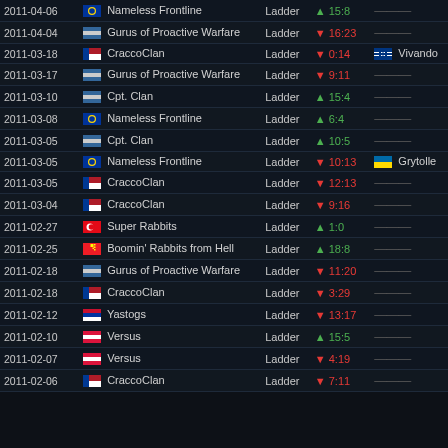| Date | Opponent | Type | Score | MVP |
| --- | --- | --- | --- | --- |
| 2011-04-06 | Nameless Frontline | Ladder | ▲ 15:8 | — |
| 2011-04-04 | Gurus of Proactive Warfare | Ladder | ▼ 16:23 | — |
| 2011-03-18 | CraccoClan | Ladder | ▼ 0:14 | Vivando |
| 2011-03-17 | Gurus of Proactive Warfare | Ladder | ▼ 9:11 | — |
| 2011-03-10 | Cpt. Clan | Ladder | ▲ 15:4 | — |
| 2011-03-08 | Nameless Frontline | Ladder | ▲ 6:4 | — |
| 2011-03-05 | Cpt. Clan | Ladder | ▲ 10:5 | — |
| 2011-03-05 | Nameless Frontline | Ladder | ▼ 10:13 | Grytolle |
| 2011-03-05 | CraccoClan | Ladder | ▼ 12:13 | — |
| 2011-03-04 | CraccoClan | Ladder | ▼ 9:16 | — |
| 2011-02-27 | Super Rabbits | Ladder | ▲ 1:0 | — |
| 2011-02-25 | Boomin' Rabbits from Hell | Ladder | ▲ 18:8 | — |
| 2011-02-18 | Gurus of Proactive Warfare | Ladder | ▼ 11:20 | — |
| 2011-02-18 | CraccoClan | Ladder | ▼ 3:29 | — |
| 2011-02-12 | Yastogs | Ladder | ▼ 13:17 | — |
| 2011-02-10 | Versus | Ladder | ▲ 15:5 | — |
| 2011-02-07 | Versus | Ladder | ▼ 4:19 | — |
| 2011-02-06 | CraccoClan | Ladder | ▼ 7:11 | — |